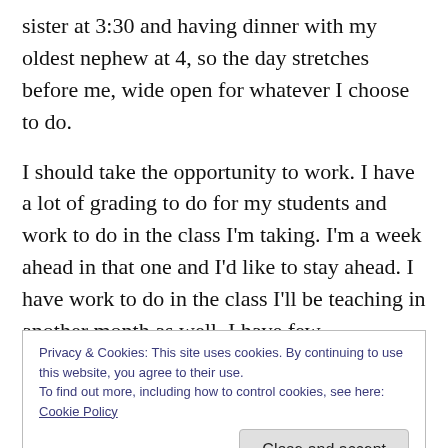sister at 3:30 and having dinner with my oldest nephew at 4, so the day stretches before me, wide open for whatever I choose to do.
I should take the opportunity to work. I have a lot of grading to do for my students and work to do in the class I'm taking. I'm a week ahead in that one and I'd like to stay ahead. I have work to do in the class I'll be teaching in another month as well. I have few distractions here, unlike at home when Maverick is demanding attention and there's a lawn swing calling to me, and a plethora of books
Privacy & Cookies: This site uses cookies. By continuing to use this website, you agree to their use.
To find out more, including how to control cookies, see here: Cookie Policy
nearly gone so it must be replenished. I want to make